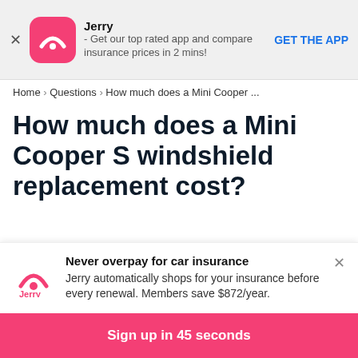[Figure (screenshot): Jerry app banner with pink app icon showing arc/radar symbol, app name Jerry, description text, and GET THE APP button]
Home > Questions > How much does a Mini Cooper ...
How much does a Mini Cooper S windshield replacement cost?
My car got vandalized this week—I learned after
[Figure (infographic): Jerry popup: Never overpay for car insurance. Jerry automatically shops for your insurance before every renewal. Members save $872/year. Jerry logo in pink.]
Sign up in 45 seconds